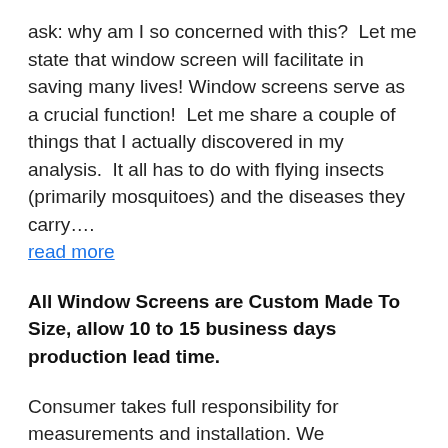ask: why am I so concerned with this?  Let me state that window screen will facilitate in saving many lives! Window screens serve as a crucial function!  Let me share a couple of things that I actually discovered in my analysis.  It all has to do with flying insects (primarily mosquitoes) and the diseases they carry…. read more
All Window Screens are Custom Made To Size, allow 10 to 15 business days production lead time.
Consumer takes full responsibility for measurements and installation. We recommend that you use a handyman service to install. Best Custom Screens is not responsible for consumer measuring mistakes.